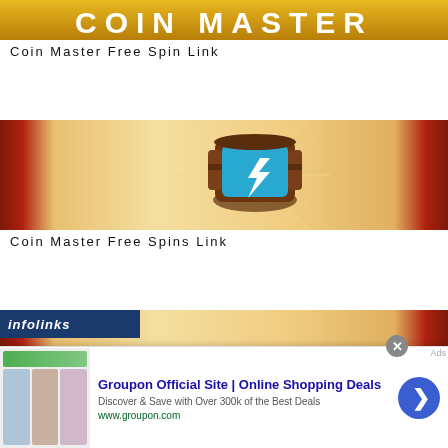[Figure (illustration): Coin Master game logo banner with gold background and white bold text reading COIN MASTER]
Coin Master Free Spin Link
[Figure (illustration): Coin Master game banner with peach/gold gradient background, red side panels, and a 3D game hammer/mug icon with blue lightning bolt in center]
Coin Master Free Spins Link
[Figure (illustration): Partial third Coin Master banner at bottom of page, partially obscured by advertisement overlay]
[Figure (screenshot): Infolinks advertisement overlay showing Groupon Official Site ad with blue navigation arrow button and close button. Ad text: Groupon Official Site | Online Shopping Deals. Discover & Save with Over 300k of the Best Deals. www.groupon.com]